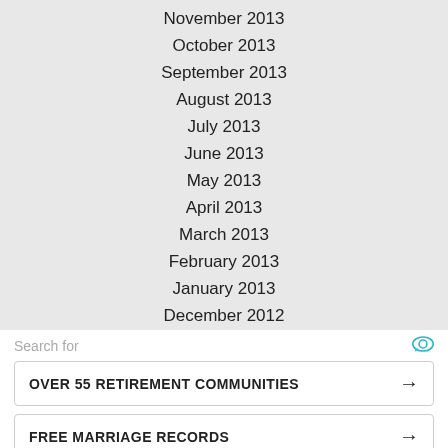November 2013
October 2013
September 2013
August 2013
July 2013
June 2013
May 2013
April 2013
March 2013
February 2013
January 2013
December 2012
Search for
OVER 55 RETIREMENT COMMUNITIES →
FREE MARRIAGE RECORDS →